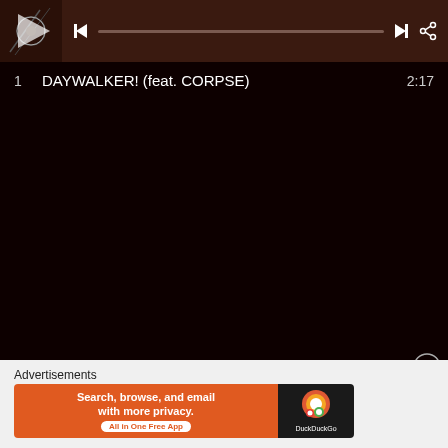[Figure (screenshot): Music player bar with album thumbnail, previous/next buttons, progress bar, and share icon on dark brown background]
1   DAYWALKER! (feat. CORPSE)   2:17
[Figure (screenshot): Large dark/black area representing the music streaming interface background]
Advertisements
[Figure (infographic): DuckDuckGo advertisement banner: Search, browse, and email with more privacy. All in One Free App. DuckDuckGo logo on dark background.]